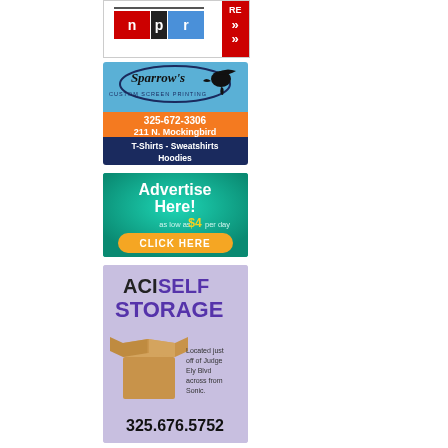[Figure (logo): NPR logo advertisement with red and black color blocks and red chevron arrows on right side]
[Figure (illustration): Sparrow's Custom Screen Printing advertisement with bird logo on blue/orange background, phone number 325-672-3306, address 211 N. Mockingbird, and text T-Shirts - Sweatshirts Hoodies on dark blue background]
[Figure (infographic): Advertise Here! advertisement on teal/green background showing as low as $4 per day with yellow CLICK HERE button]
[Figure (infographic): ACI Self Storage advertisement on purple background with cardboard box illustration, text Located just off of Judge Ely Blvd across from Sonic., phone 325.676.5752]